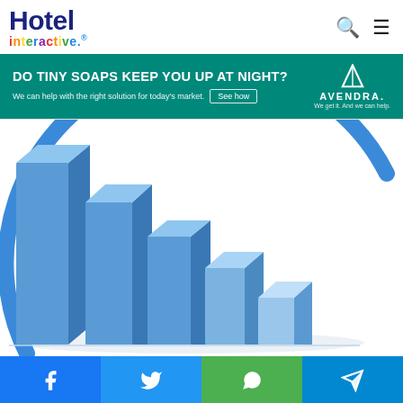Hotel interactive® — navigation header with search and menu icons
[Figure (infographic): Avendra advertisement banner: 'DO TINY SOAPS KEEP YOU UP AT NIGHT? We can help with the right solution for today's market. See how' with Avendra logo on teal/green background]
[Figure (illustration): 3D blue bar chart with descending bars and a blue arc/circle overlay on white background]
[Figure (infographic): Social sharing bar with Facebook, Twitter, WhatsApp, and Telegram icons]